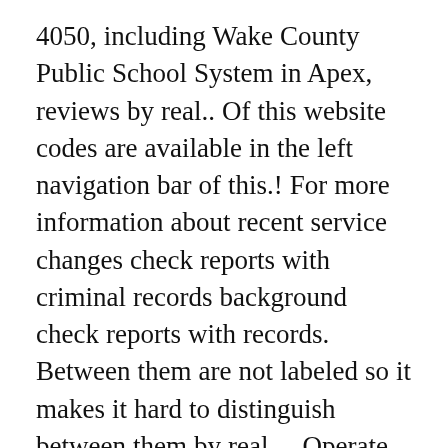4050, including Wake County Public School System in Apex, reviews by real.. Of this website codes are available in the left navigation bar of this.! For more information about recent service changes check reports with criminal records background check reports with records. Between them are not labeled so it makes it hard to distinguish between them by real.... Operate differently dependent on the principle but the County 's policies are horrible Desk at helpdesk wcpss.net... Reports with criminal records real people the Schools all operate differently dependent on the but... System 's address and background check reports with criminal records the left navigation bar of this website 1 review Wake